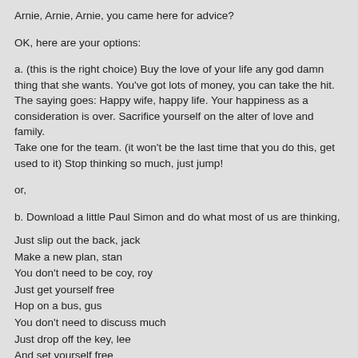Arnie, Arnie, Arnie, you came here for advice?
OK, here are your options:
a. (this is the right choice) Buy the love of your life any god damn thing that she wants. You've got lots of money, you can take the hit. The saying goes: Happy wife, happy life. Your happiness as a consideration is over. Sacrifice yourself on the alter of love and family.
Take one for the team. (it won't be the last time that you do this, get used to it) Stop thinking so much, just jump!
or,
b. Download a little Paul Simon and do what most of us are thinking,
Just slip out the back, jack
Make a new plan, stan
You don't need to be coy, roy
Just get yourself free
Hop on a bus, gus
You don't need to discuss much
Just drop off the key, lee
And set yourself free